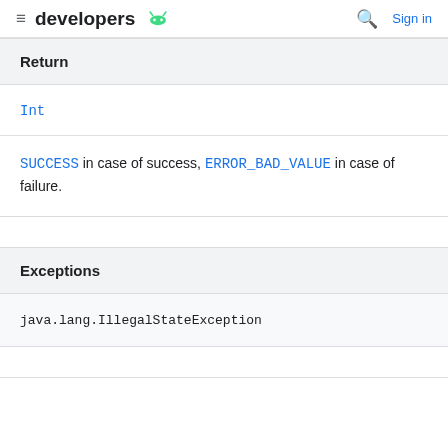developers [Android logo] | [search] Sign in
Return
Int
SUCCESS in case of success, ERROR_BAD_VALUE in case of failure.
Exceptions
java.lang.IllegalStateException